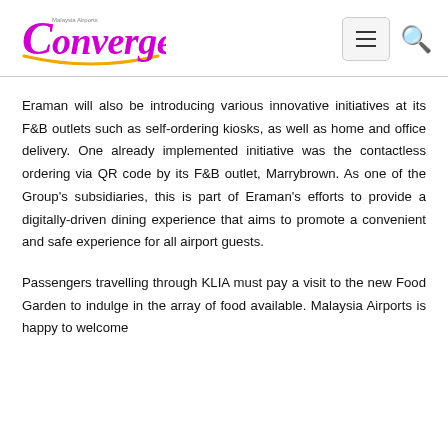Convergence
Eraman will also be introducing various innovative initiatives at its F&B outlets such as self-ordering kiosks, as well as home and office delivery. One already implemented initiative was the contactless ordering via QR code by its F&B outlet, Marrybrown. As one of the Group's subsidiaries, this is part of Eraman's efforts to provide a digitally-driven dining experience that aims to promote a convenient and safe experience for all airport guests.
Passengers travelling through KLIA must pay a visit to the new Food Garden to indulge in the array of food available. Malaysia Airports is happy to welcome